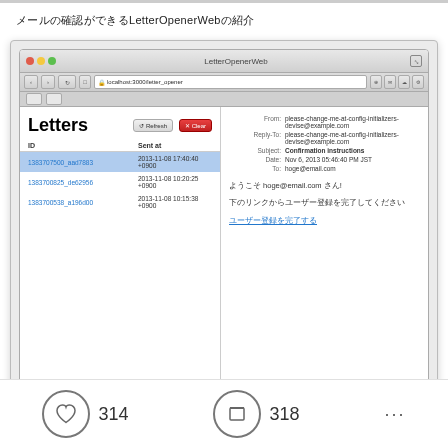メールの確認ができるLetterOpenerWebの紹介
[Figure (screenshot): Browser screenshot showing LetterOpenerWeb application with Letters panel listing email IDs and sent times, and right panel displaying email content in Japanese about user registration confirmation.]
314
318